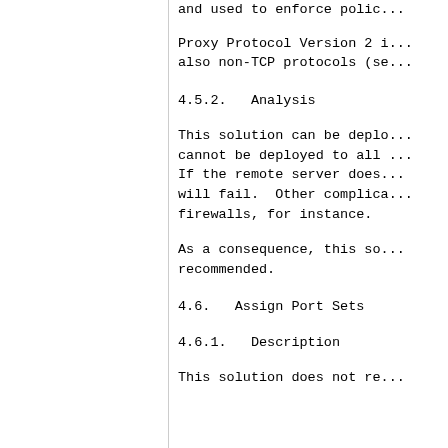and used to enforce polic...
Proxy Protocol Version 2 i... also non-TCP protocols (se...
4.5.2.   Analysis
This solution can be deplo... cannot be deployed to all ... If the remote server does... will fail.  Other complica... firewalls, for instance.
As a consequence, this so... recommended.
4.6.   Assign Port Sets
4.6.1.   Description
This solution does not re...